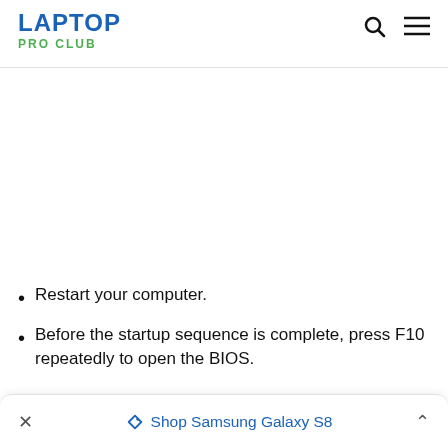LAPTOP PRO CLUB
Restart your computer.
Before the startup sequence is complete, press F10 repeatedly to open the BIOS.
× Shop Samsung Galaxy S8 ∧